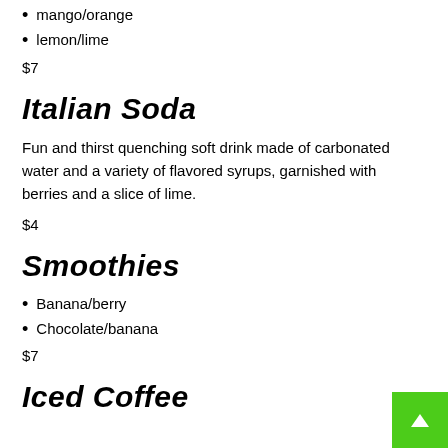mango/orange
lemon/lime
$7
Italian Soda
Fun and thirst quenching soft drink made of carbonated water and a variety of flavored syrups, garnished with berries and a slice of lime.
$4
Smoothies
Banana/berry
Chocolate/banana
$7
Iced Coffee